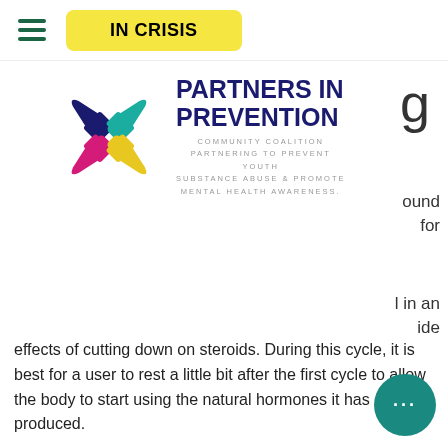IN CRISIS
[Figure (logo): Partners in Prevention community coalition logo with four colorful hands (dark blue, teal, magenta/pink, yellow) arranged in a diamond shape. Text reads PARTNERS IN PREVENTION in dark navy bold, with subtitle COMMUNITY COALITION PARTNERING TO PREVENT YOUTH SUBSTANCE ABUSE & PROMOTE MENTAL HEALTH AWARENESS.]
effects of cutting down on steroids. During this cycle, it is best for a user to rest a little bit after the first cycle to allow the body to start using the natural hormones it has produced.
The first cycle takes place in the late evening, best trenbolone for cutting.